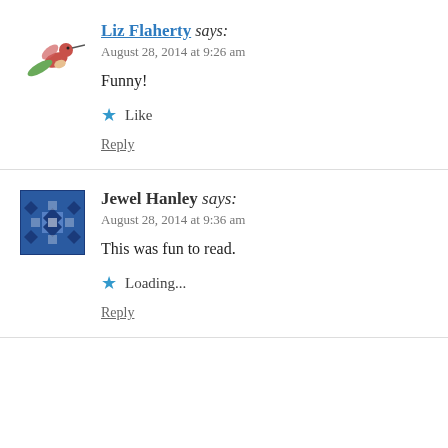[Figure (illustration): Hummingbird avatar for Liz Flaherty]
Liz Flaherty says:
August 28, 2014 at 9:26 am
Funny!
★ Like
Reply
[Figure (illustration): Quilt pattern avatar for Jewel Hanley]
Jewel Hanley says:
August 28, 2014 at 9:36 am
This was fun to read.
★ Loading...
Reply